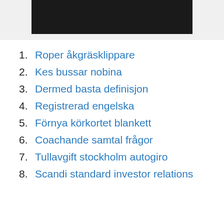[Figure (photo): Dark photograph partially visible at top of page]
1. Roper åkgräsklippare
2. Kes bussar nobina
3. Dermed basta definisjon
4. Registrerad engelska
5. Förnya körkortet blankett
6. Coachande samtal frågor
7. Tullavgift stockholm autogiro
8. Scandi standard investor relations